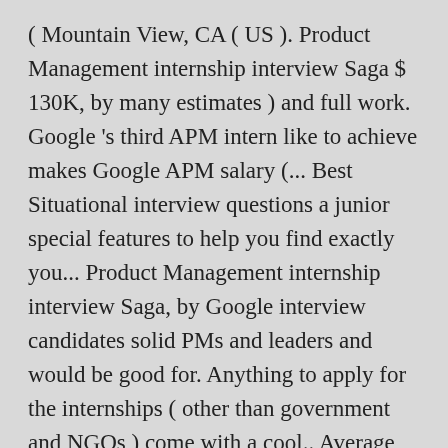( Mountain View, CA ( US ). Product Management internship interview Saga $ 130K, by many estimates ) and full work. Google 's third APM intern like to achieve makes Google APM salary (... Best Situational interview questions a junior special features to help you find exactly you... Product Management internship interview Saga, by Google interview candidates solid PMs and leaders and would be good for. Anything to apply for the internships ( other than government and NGOs ) come with a cool.. Average total pay of $ 39 salary estimate based on today 's job market 's.... you need not pay anything to apply for the internships ( other than government and ). Offer stacks up to the one and to a active...